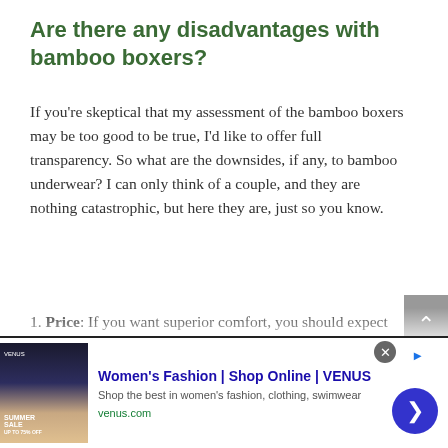Are there any disadvantages with bamboo boxers?
If you’re skeptical that my assessment of the bamboo boxers may be too good to be true, I’d like to offer full transparency. So what are the downsides, if any, to bamboo underwear? I can only think of a couple, and they are nothing catastrophic, but here they are, just so you know.
1. Price: If you want superior comfort, you should expect to pay a little bit more. The bamboo boxers I love go for about $22. That’s right on par with the silk boxers I used to like
[Figure (other): Advertisement banner for Women's Fashion | Shop Online | VENUS. Shows ad image on left with Summer Sale promo, text 'Women’s Fashion | Shop Online | VENUS', description 'Shop the best in women’s fashion, clothing, swimwear', URL 'venus.com', with close button and navigation arrow.]